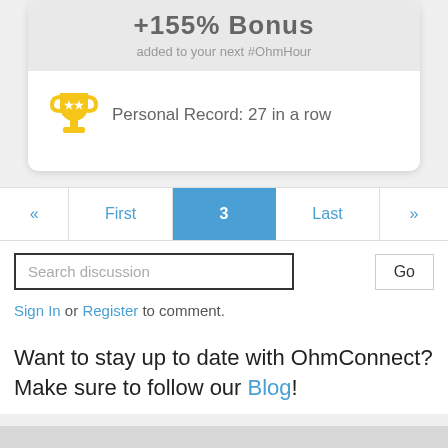+155% Bonus added to your next #OhmHour
Personal Record: 27 in a row
[Figure (infographic): Pagination bar with «, First, 3 (active/highlighted in blue), Last, » buttons]
Search discussion
Go
Sign In or Register to comment.
Want to stay up to date with OhmConnect? Make sure to follow our Blog!